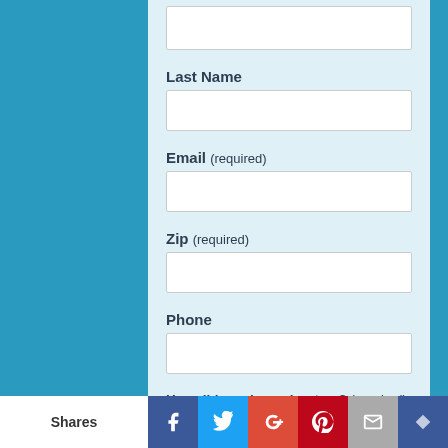Last Name
Email (required)
Zip (required)
Phone
How did you hear about us? (required)
Shares